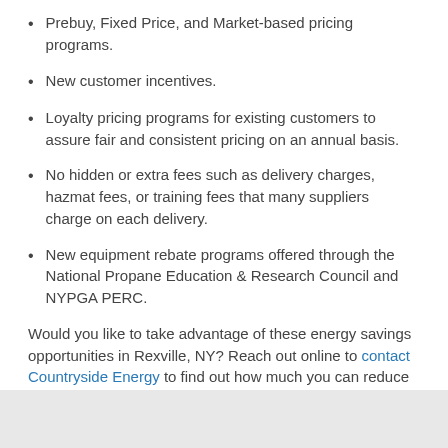Prebuy, Fixed Price, and Market-based pricing programs.
New customer incentives.
Loyalty pricing programs for existing customers to assure fair and consistent pricing on an annual basis.
No hidden or extra fees such as delivery charges, hazmat fees, or training fees that many suppliers charge on each delivery.
New equipment rebate programs offered through the National Propane Education & Research Council and NYPGA PERC.
Would you like to take advantage of these energy savings opportunities in Rexville, NY? Reach out online to contact Countryside Energy to find out how much you can reduce your propane home comfort costs!